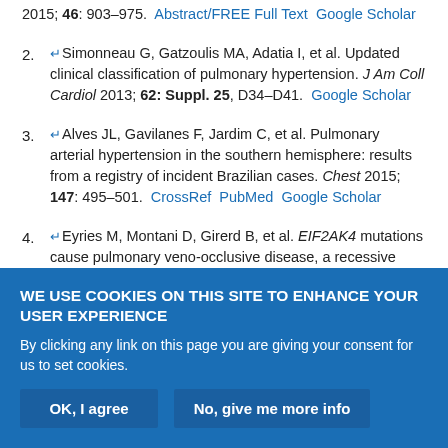2015; 46: 903–975.  Abstract/FREE Full Text  Google Scholar
2. ↵Simonneau G, Gatzoulis MA, Adatia I, et al. Updated clinical classification of pulmonary hypertension. J Am Coll Cardiol 2013; 62: Suppl. 25, D34–D41.  Google Scholar
3. ↵Alves JL, Gavilanes F, Jardim C, et al. Pulmonary arterial hypertension in the southern hemisphere: results from a registry of incident Brazilian cases. Chest 2015; 147: 495–501.  CrossRef  PubMed  Google Scholar
4. ↵Eyries M, Montani D, Girerd B, et al. EIF2AK4 mutations cause pulmonary veno-occlusive disease, a recessive form of pulmonary hypertension. Nat Genet 2014; 46: 65–69.  PubMed  Google Scholar
WE USE COOKIES ON THIS SITE TO ENHANCE YOUR USER EXPERIENCE
By clicking any link on this page you are giving your consent for us to set cookies.